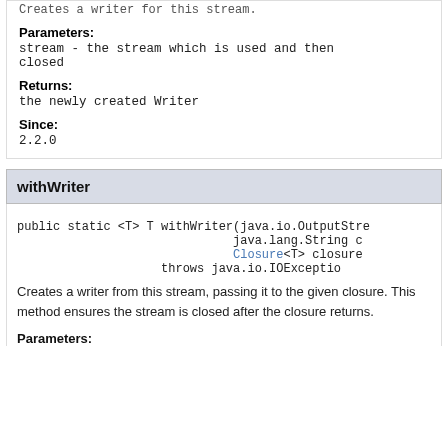Creates a writer for this stream.
Parameters:
stream - the stream which is used and then closed
Returns:
the newly created Writer
Since:
2.2.0
withWriter
public static <T> T withWriter(java.io.OutputStream
                              java.lang.String c
                              Closure<T> closure
                    throws java.io.IOException
Creates a writer from this stream, passing it to the given closure. This method ensures the stream is closed after the closure returns.
Parameters: